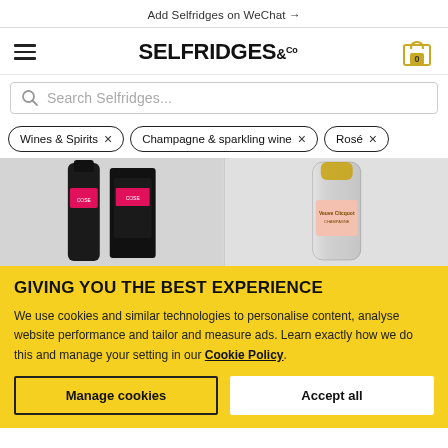Add Selfridges on WeChat →
SELFRIDGES&CO
Search Selfridges...
Wines & Spirits ×
Champagne & sparkling wine ×
Rosé ×
[Figure (photo): Two dark champagne bottles with pink labels and black box packaging]
[Figure (photo): Silver champagne bottle with pink Veuve Clicquot label]
GIVING YOU THE BEST EXPERIENCE
We use cookies and similar technologies to personalise content, analyse website performance and tailor and measure ads. Learn exactly how we do this and manage your setting in our Cookie Policy.
Manage cookies
Accept all